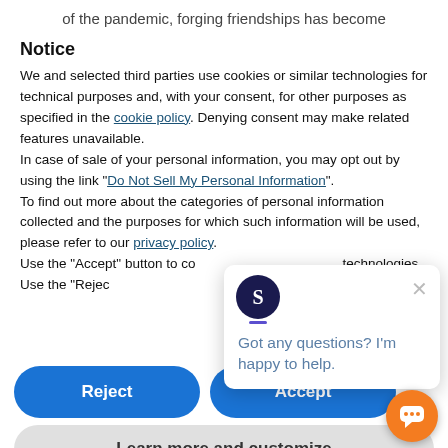of the pandemic, forging friendships has become
Notice
We and selected third parties use cookies or similar technologies for technical purposes and, with your consent, for other purposes as specified in the cookie policy. Denying consent may make related features unavailable.
In case of sale of your personal information, you may opt out by using the link "Do Not Sell My Personal Information".
To find out more about the categories of personal information collected and the purposes for which such information will be used, please refer to our privacy policy.
Use the "Accept" button to co... technologies. Use the "Rejec... accepting.
[Figure (screenshot): Chat popup with avatar showing letter S, close button, and message: Got any questions? I'm happy to help.]
Reject
Accept
Learn more and customize
[Figure (illustration): Orange floating chat button in bottom right corner]